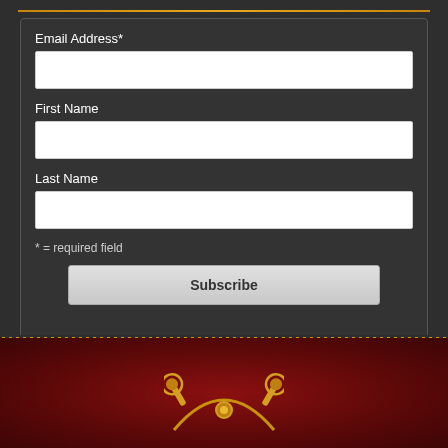Email Address*
First Name
Last Name
* = required field
Subscribe
[Figure (illustration): Gold decorative emblem with two banjos/instruments crossed in a circular arc, on a dark red background]